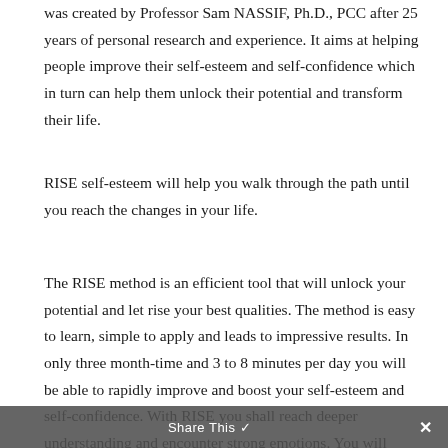was created by Professor Sam NASSIF, Ph.D., PCC after 25 years of personal research and experience. It aims at helping people improve their self-esteem and self-confidence which in turn can help them unlock their potential and transform their life.
RISE self-esteem will help you walk through the path until you reach the changes in your life.
The RISE method is an efficient tool that will unlock your potential and let rise your best qualities. The method is easy to learn, simple to apply and leads to impressive results. In only three month-time and 3 to 8 minutes per day you will be able to rapidly improve and boost your self-esteem and self-confidence. With RISE you shall reach deeper understanding and encounter strong emotions. You will build a high level of self-
Share This ✓  ✕